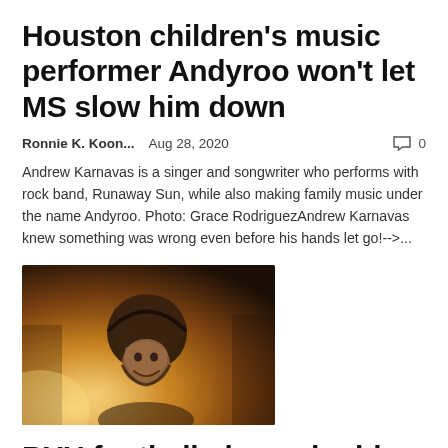Houston children’s music performer Andyroo won’t let MS slow him down
Ronnie K. Koon...   Aug 28, 2020   💬 0
Andrew Karnavas is a singer and songwriter who performs with rock band, Runaway Sun, while also making family music under the name Andyroo. Photo: Grace RodriguezAndrew Karnavas knew something was wrong even before his hands let go!-->...
[Figure (photo): A football player wearing a helmet, backlit by warm golden light, smiling]
BYU football player doubles as